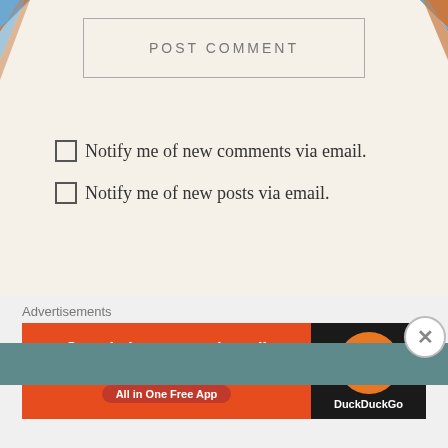POST COMMENT
☐ Notify me of new comments via email.
☐ Notify me of new posts via email.
[Figure (screenshot): Search widget with 'Search ...' placeholder text and a magnifying glass icon, on a lined notepad-style background]
[Figure (screenshot): Teal/dark blue-green header bar]
Advertisements
[Figure (screenshot): DuckDuckGo advertisement banner: 'Search, browse, and email with more privacy. All in One Free App' with DuckDuckGo logo on dark background]